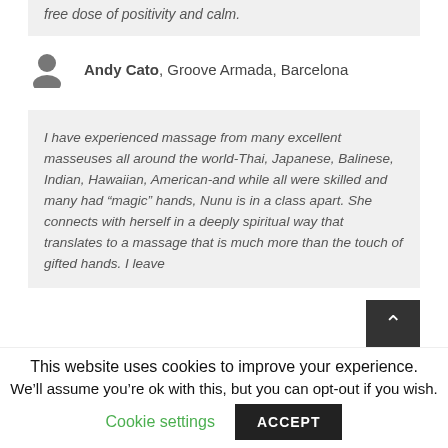free dose of positivity and calm.
Andy Cato, Groove Armada, Barcelona
I have experienced massage from many excellent masseuses all around the world-Thai, Japanese, Balinese, Indian, Hawaiian, American-and while all were skilled and many had “magic” hands, Nunu is in a class apart. She connects with herself in a deeply spiritual way that translates to a massage that is much more than the touch of gifted hands. I leave
This website uses cookies to improve your experience.
We’ll assume you’re ok with this, but you can opt-out if you wish.
Cookie settings
ACCEPT